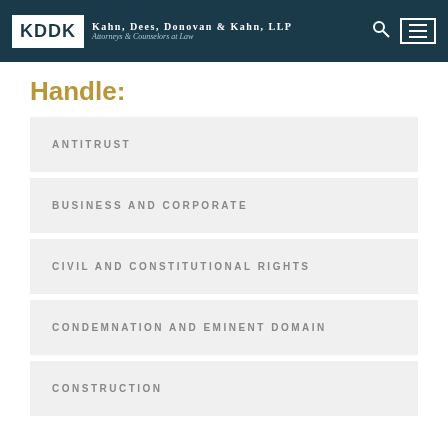KDDK — Kahn, Dees, Donovan & Kahn, LLP — Attorneys & Counselors at Law
Handle:
ANTITRUST
BUSINESS AND CORPORATE
CIVIL AND CONSTITUTIONAL RIGHTS
CONDEMNATION AND EMINENT DOMAIN
CONSTRUCTION